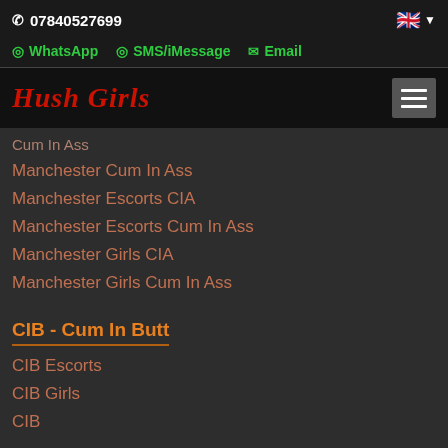07840527699
WhatsApp  SMS/iMessage  Email
Hush Girls
Cum In Ass
Manchester Cum In Ass
Manchester Escorts CIA
Manchester Escorts Cum In Ass
Manchester Girls CIA
Manchester Girls Cum In Ass
CIB - Cum In Butt
CIB Escorts
CIB Girls
CIB